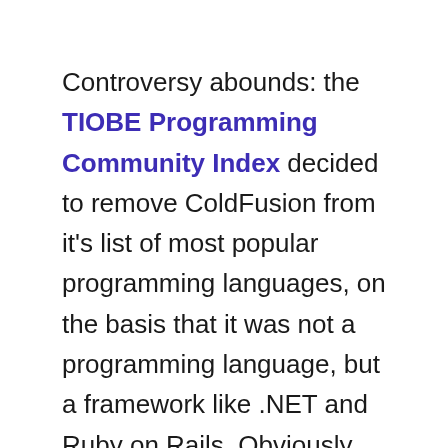Controversy abounds: the TIOBE Programming Community Index decided to remove ColdFusion from it's list of most popular programming languages, on the basis that it was not a programming language, but a framework like .NET and Ruby on Rails. Obviously, much outrage ensued on blogs and mailing lists – far too many outpourings of disgust to link to them all! After reconsidering, TIOBE updated their FAQ to note that CFML – the ColdFusion Markup Language, as distinct from Adobe ColdFusion the application server product – was in fact, a Turing complete programming language and would be included in